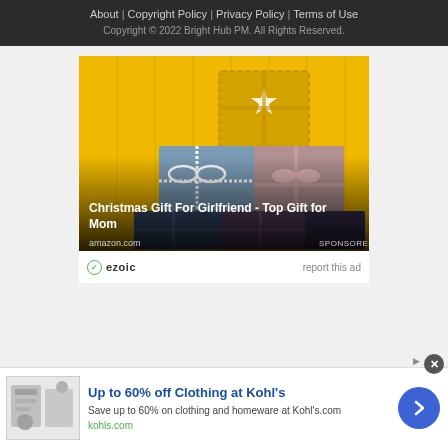About | Copyright Policy | Privacy Policy | Terms of Use
Copyright © 2022 Bright Hub PM. All Rights Reserved.
[Figure (photo): Advertisement photo showing stacked Christmas gift boxes with colorful wrapping paper and ribbons on a yellow paneled wall background. Text overlay reads 'Christmas Gift For Girlfriend - Top Gift for Mom'. Source: amazon.com. Labeled SPONSORED.]
ezoic   report this ad
[Figure (screenshot): Banner advertisement for Kohl's: 'Up to 60% off Clothing at Kohl's'. Save up to 60% on clothing and homeware at Kohl's.com. kohls.com]